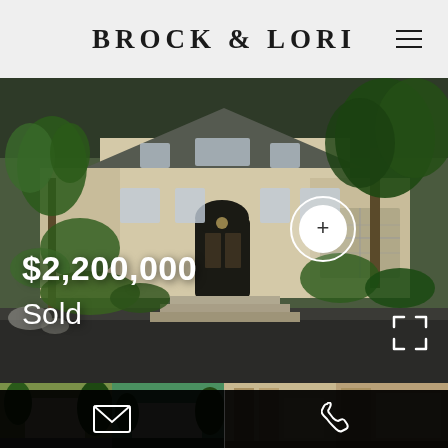BROCK & LORI
[Figure (photo): Exterior photo of a two-story luxury home with palm trees, lush landscaping, and a wide staircase leading to the front door. Overlaid text shows $2,200,000 and Sold with a white circle-plus button and expand icon.]
$2,200,000
Sold
[Figure (photo): Thumbnail strip of property photos at the bottom of the page, partially obscured by a contact bar with email and phone icons.]